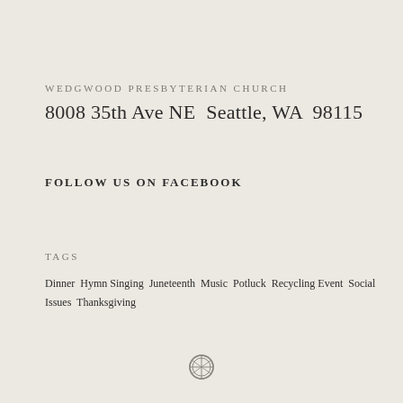WEDGWOOD PRESBYTERIAN CHURCH
8008 35th Ave NE  Seattle, WA  98115
FOLLOW US ON FACEBOOK
TAGS
Dinner  Hymn Singing  Juneteenth  Music  Potluck  Recycling Event  Social Issues  Thanksgiving
[Figure (logo): WordPress logo circle icon]